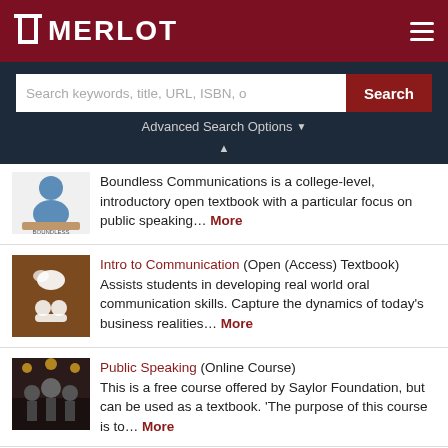MERLOT
Search keywords, title, URL, ISBN, o
Advanced Search Options
Boundless Communications is a college-level, introductory open textbook with a particular focus on public speaking... More
Intro to Communication (Open (Access) Textbook)
Assists students in developing real world oral communication skills. Capture the dynamics of today's business realities... More
Public Speaking (Online Course)
This is a free course offered by Saylor Foundation, but can be used as a textbook. 'The purpose of this course is to... More